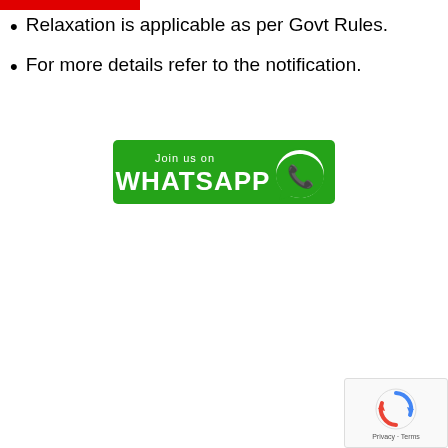Relaxation is applicable as per Govt Rules.
For more details refer to the notification.
[Figure (other): Join us on WhatsApp promotional banner with green background and WhatsApp logo]
[Figure (other): reCAPTCHA widget with Privacy and Terms text]